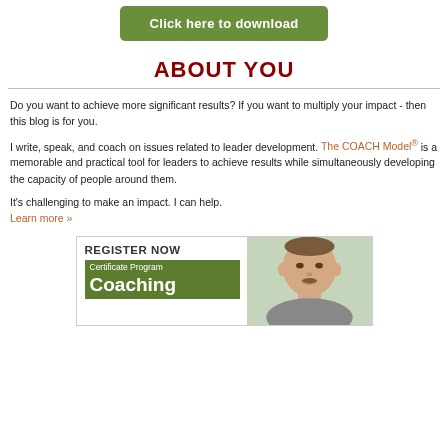[Figure (other): Green button with text 'Click here to download']
ABOUT YOU
Do you want to achieve more significant results? If you want to multiply your impact - then this blog is for you.
I write, speak, and coach on issues related to leader development. The COACH Model® is a memorable and practical tool for leaders to achieve results while simultaneously developing the capacity of people around them.
It's challenging to make an impact. I can help.
Learn more »
[Figure (advertisement): Register Now banner for Certificate Program Coaching, with photo of a smiling man]